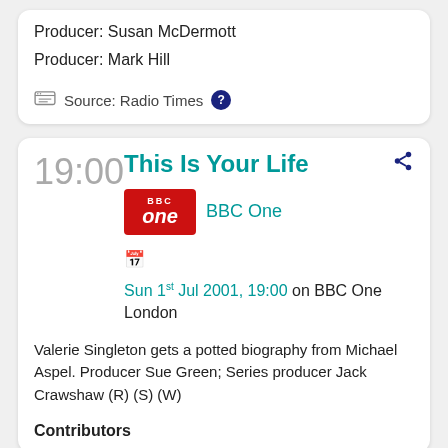Producer:  Susan McDermott
Producer:  Mark Hill
Source: Radio Times ?
19:00
This Is Your Life
BBC One
Sun 1st Jul 2001, 19:00 on BBC One London
Valerie Singleton gets a potted biography from Michael Aspel. Producer Sue Green; Series producer Jack Crawshaw (R) (S) (W)
Contributors